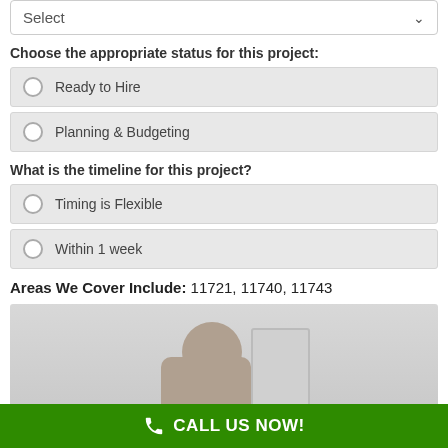[Figure (screenshot): Dropdown select box with placeholder text 'Select' and a chevron arrow]
Choose the appropriate status for this project:
Ready to Hire
Planning & Budgeting
What is the timeline for this project?
Timing is Flexible
Within 1 week
Areas We Cover Include: 11721, 11740, 11743
[Figure (photo): Photo of a person (man with dark hair) near a white board or appliance]
CALL US NOW!